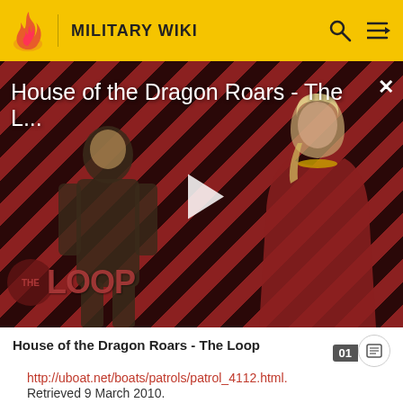MILITARY WIKI
[Figure (screenshot): Video thumbnail for 'House of the Dragon Roars - The L...' with a play button overlay, diagonal red and dark stripe pattern background, two silhouetted characters, and The Loop watermark logo]
House of the Dragon Roars - The Loop
http://uboat.net/boats/patrols/patrol_4112.html. Retrieved 9 March 2010.
4. ↑ "Changri-Lá (Sailing ship) - Ships hit by U-boats". U-